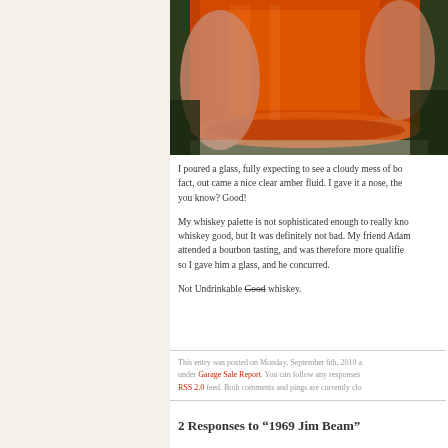[Figure (photo): A hand holding a glass of amber-colored whiskey/bourbon up to the light, with green trees visible in the background. The liquid is a deep amber-red color.]
I poured a glass, fully expecting to see a cloudy mess of bo... fact, out came a nice clear amber fluid. I gave it a nose, the... you know? Good!
My whiskey palette is not sophisticated enough to really kno... whiskey good, but It was definitely not bad. My friend Adam... attended a bourbon tasting, and was therefore more qualifie... so I gave him a glass, and he concurred.
Not Undrinkable Good whiskey.
This entry was posted on Monday, September 6th, 2010 a... under Garage Sale Report. You can follow any responses... RSS 2.0 feed. Both comments and pings are currently clo...
2 Responses to “1969 Jim Beam”